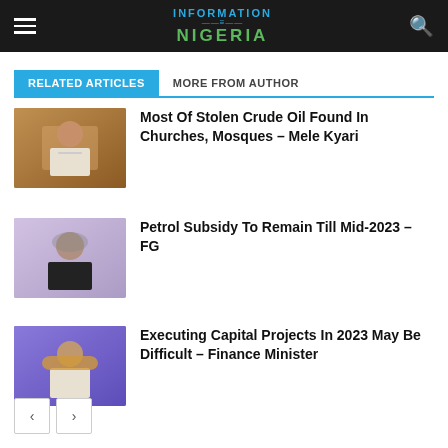Information Nigeria
RELATED ARTICLES | MORE FROM AUTHOR
Most Of Stolen Crude Oil Found In Churches, Mosques – Mele Kyari
Petrol Subsidy To Remain Till Mid-2023 – FG
Executing Capital Projects In 2023 May Be Difficult – Finance Minister